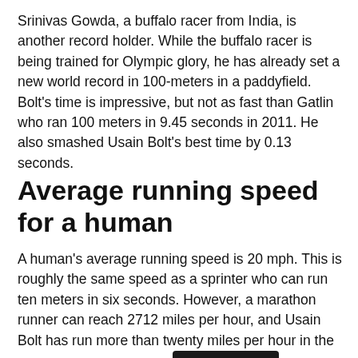Srinivas Gowda, a buffalo racer from India, is another record holder. While the buffalo racer is being trained for Olympic glory, he has already set a new world record in 100-meters in a paddyfield. Bolt's time is impressive, but not as fast than Gatlin who ran 100 meters in 9.45 seconds in 2011. He also smashed Usain Bolt's best time by 0.13 seconds.
Average running speed for a human
A human's average running speed is 20 mph. This is roughly the same speed as a sprinter who can run ten meters in six seconds. However, a marathon runner can reach 2712 miles per hour, and Usain Bolt has run more than twenty miles per hour in the 100-meter sprint. This is [Back to top] e average human running speed, but it's still amazing to think we can run more that 100